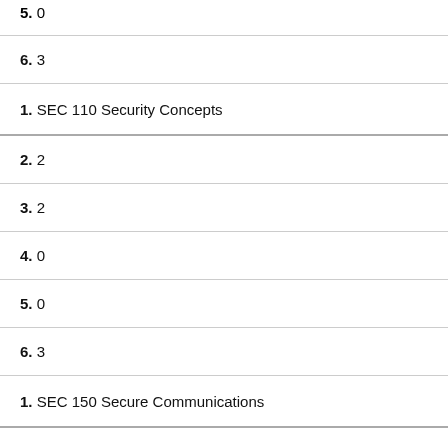5. 0
6. 3
1. SEC 110 Security Concepts
2. 2
3. 2
4. 0
5. 0
6. 3
1. SEC 150 Secure Communications